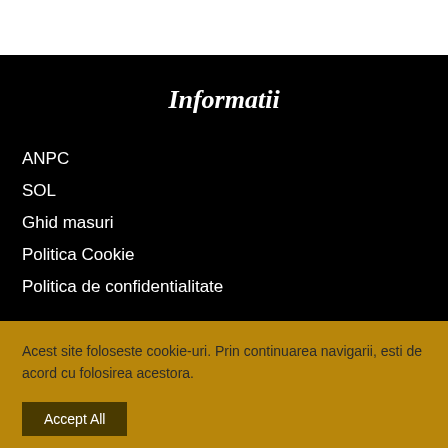Informatii
ANPC
SOL
Ghid masuri
Politica Cookie
Politica de confidentialitate
Acest site foloseste cookie-uri. Prin continuarea navigarii, esti de acord cu folosirea acestora.
Accept All